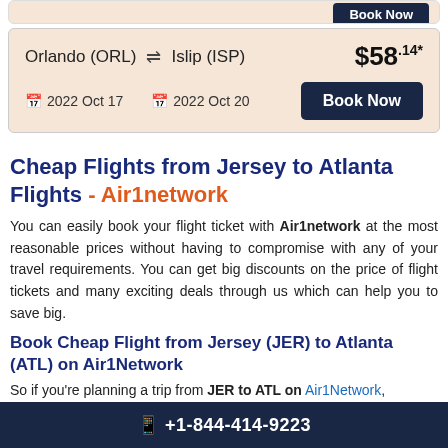[Figure (screenshot): Partially visible flight booking card at top of page, showing a dark Book Now button]
| Orlando (ORL) | ⇌ | Islip (ISP) | $58.14* |
| 📅 2022 Oct 17 |  | 📅 2022 Oct 20 | Book Now |
Cheap Flights from Jersey to Atlanta Flights - Air1network
You can easily book your flight ticket with Air1network at the most reasonable prices without having to compromise with any of your travel requirements. You can get big discounts on the price of flight tickets and many exciting deals through us which can help you to save big.
Book Cheap Flight from Jersey (JER) to Atlanta (ATL) on Air1Network
So if you're planning a trip from JER to ATL on Air1Network,
📱 +1-844-414-9223